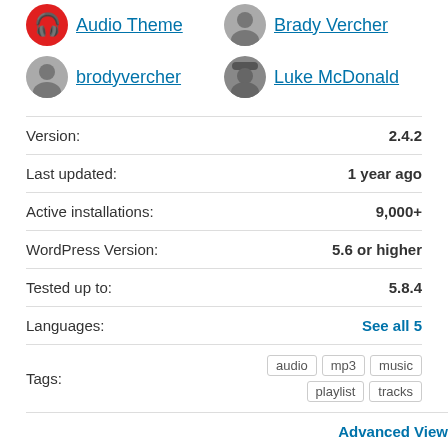[Figure (logo): Audio Theme logo - red circle with headphone icon]
Audio Theme
[Figure (photo): Brady Vercher profile photo - grayscale portrait]
Brady Vercher
[Figure (photo): brodyvercher profile photo - grayscale portrait]
brodyvercher
[Figure (photo): Luke McDonald profile photo - grayscale portrait with hat]
Luke McDonald
| Version: | 2.4.2 |
| Last updated: | 1 year ago |
| Active installations: | 9,000+ |
| WordPress Version: | 5.6 or higher |
| Tested up to: | 5.8.4 |
| Languages: | See all 5 |
| Tags: | audio  mp3  music  playlist  tracks |
Advanced View